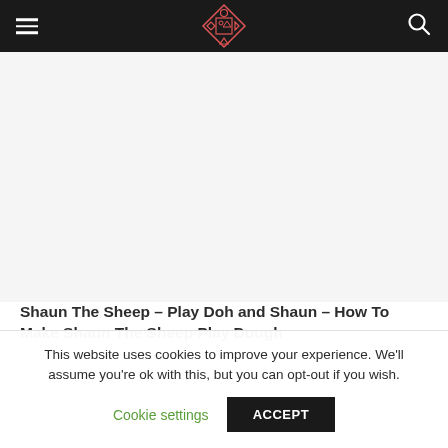Navigation header with hamburger menu, logo, and search icon
[Figure (other): Large image placeholder area (grey/white background) for a Shaun The Sheep Play Dough video or image]
Shaun The Sheep – Play Doh and Shaun – How To Make Shaun The Sheep Play Dough
This website uses cookies to improve your experience. We'll assume you're ok with this, but you can opt-out if you wish.
Cookie settings | ACCEPT